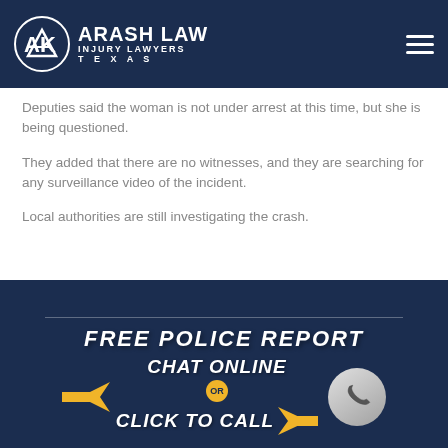Arash Law – Injury Lawyers Texas
Deputies said the woman is not under arrest at this time, but she is being questioned.
They added that there are no witnesses, and they are searching for any surveillance video of the incident.
Local authorities are still investigating the crash.
[Figure (infographic): Dark navy banner with 'FREE POLICE REPORT' text, a yellow arrow pointing right, 'CHAT ONLINE OR CLICK TO CALL' text with yellow arrows and a phone circle icon.]